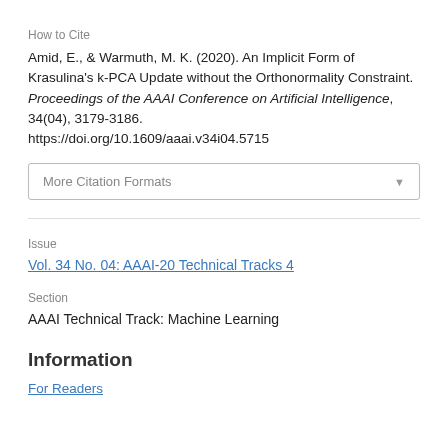How to Cite
Amid, E., & Warmuth, M. K. (2020). An Implicit Form of Krasulina's k-PCA Update without the Orthonormality Constraint. Proceedings of the AAAI Conference on Artificial Intelligence, 34(04), 3179-3186. https://doi.org/10.1609/aaai.v34i04.5715
More Citation Formats
Issue
Vol. 34 No. 04: AAAI-20 Technical Tracks 4
Section
AAAI Technical Track: Machine Learning
Information
For Readers